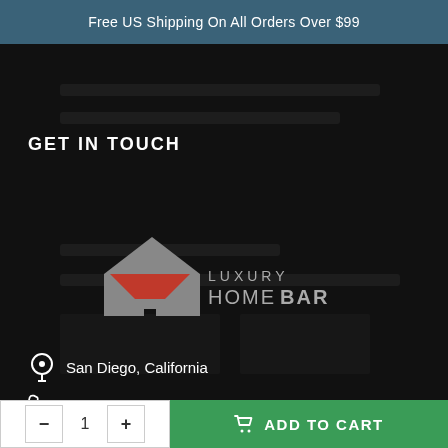Free US Shipping On All Orders Over $99
GET IN TOUCH
[Figure (logo): Luxury Home Bar logo: house/martini glass icon in gray and red with text LUXURY HOMEBAR]
San Diego, California
(+1) 888 202 9120
- 1 + ADD TO CART